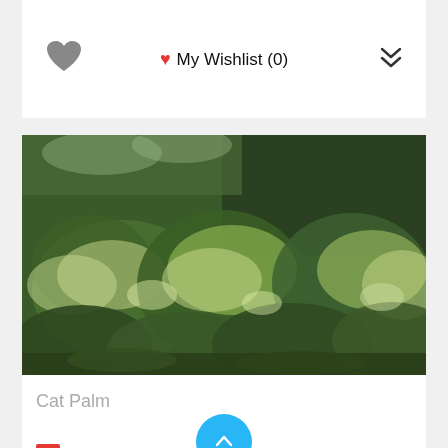My Wishlist (0)
[Figure (photo): Photograph of Cat Palm plants with dense green feathery fronds grouped together outdoors]
Cat Palm